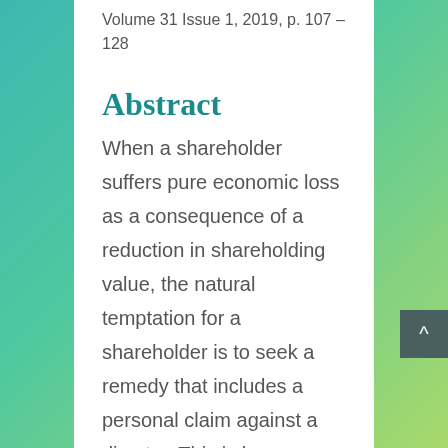Volume 31 Issue 1, 2019, p. 107 – 128
Abstract
When a shareholder suffers pure economic loss as a consequence of a reduction in shareholding value, the natural temptation for a shareholder is to seek a remedy that includes a personal claim against a director. This is because